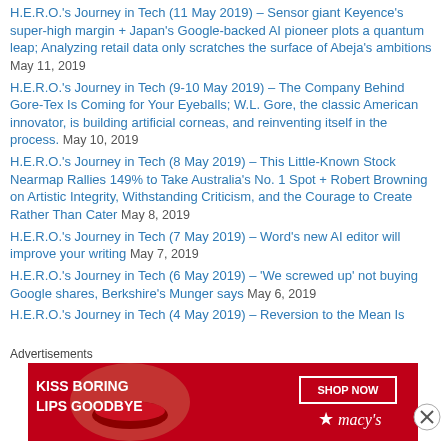H.E.R.O.'s Journey in Tech (11 May 2019) – Sensor giant Keyence's super-high margin + Japan's Google-backed AI pioneer plots a quantum leap; Analyzing retail data only scratches the surface of Abeja's ambitions May 11, 2019
H.E.R.O.'s Journey in Tech (9-10 May 2019) – The Company Behind Gore-Tex Is Coming for Your Eyeballs; W.L. Gore, the classic American innovator, is building artificial corneas, and reinventing itself in the process. May 10, 2019
H.E.R.O.'s Journey in Tech (8 May 2019) – This Little-Known Stock Nearmap Rallies 149% to Take Australia's No. 1 Spot + Robert Browning on Artistic Integrity, Withstanding Criticism, and the Courage to Create Rather Than Cater May 8, 2019
H.E.R.O.'s Journey in Tech (7 May 2019) – Word's new AI editor will improve your writing May 7, 2019
H.E.R.O.'s Journey in Tech (6 May 2019) – 'We screwed up' not buying Google shares, Berkshire's Munger says May 6, 2019
H.E.R.O.'s Journey in Tech (4 May 2019) – Reversion to the Mean Is
Advertisements
[Figure (photo): Macy's advertisement banner with red background showing a woman's lips and text 'KISS BORING LIPS GOODBYE' with 'SHOP NOW' button and Macy's logo with star]